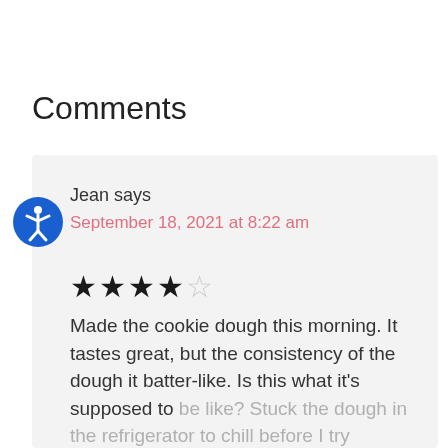Comments
Jean says
September 18, 2021 at 8:22 am
★★★★☆
Made the cookie dough this morning. It tastes great, but the consistency of the dough it batter-like. Is this what it's supposed to be like? Stuck the dough in the refrigerator to chill before I try